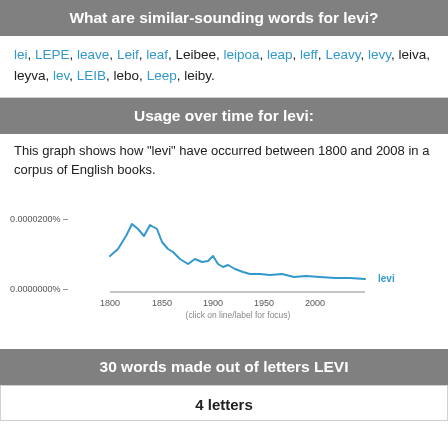What are similar-sounding words for levi?
lei, LEPE, leave, Leif, leaf, Leibee, leipoa, leap, leff, Leavy, levy, leiva, leyva, lev, LEIB, lebo, Leep, leiby.
Usage over time for levi:
This graph shows how "levi" have occurred between 1800 and 2008 in a corpus of English books.
[Figure (continuous-plot): Line chart showing usage frequency of 'levi' over time from 1800 to 2000. The line starts high around 0.0000200% near 1800-1850, then drops sharply and stays low with minor bumps near 1900 and continues low through 2000. The line is labeled 'levi' in blue.]
30 words made out of letters LEVI
4 letters